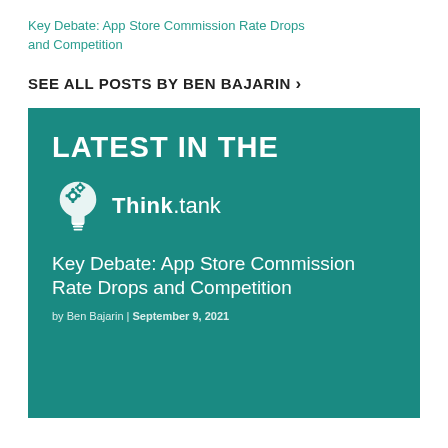Key Debate: App Store Commission Rate Drops and Competition
SEE ALL POSTS BY BEN BAJARIN >
[Figure (infographic): Teal card with 'LATEST IN THE' heading, Think.tank logo with lightbulb icon, article title 'Key Debate: App Store Commission Rate Drops and Competition', byline 'by Ben Bajarin | September 9, 2021']